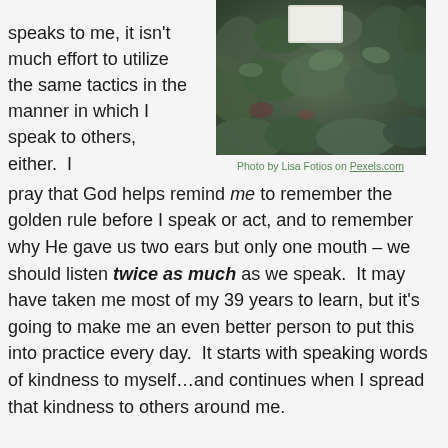inner voice speaks to me, it isn't much effort to utilize the same tactics in the manner in which I speak to others, either.  I pray that God helps remind me to remember the golden rule before I speak or act, and to remember why He gave us two ears but only one mouth – we should listen twice as much as we speak.  It may have taken me most of my 39 years to learn, but it's going to make me an even better person to put this into practice every day.  It starts with speaking words of kindness to myself…and continues when I spread that kindness to others around me.
[Figure (photo): A photograph of green leafy plants with a white card or tag visible among the foliage, taken from above. Photo by Lisa Fotios.]
Photo by Lisa Fotios on Pexels.com